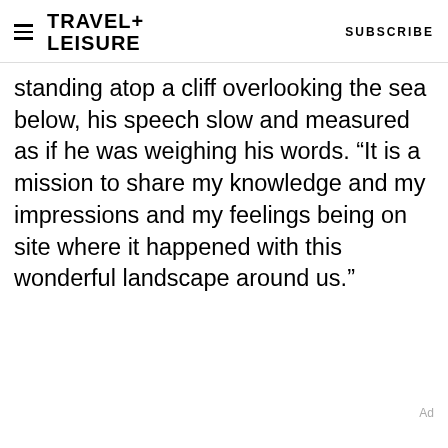TRAVEL+ LEISURE  SUBSCRIBE
standing atop a cliff overlooking the sea below, his speech slow and measured as if he was weighing his words. “It is a mission to share my knowledge and my impressions and my feelings being on site where it happened with this wonderful landscape around us.”
Ad